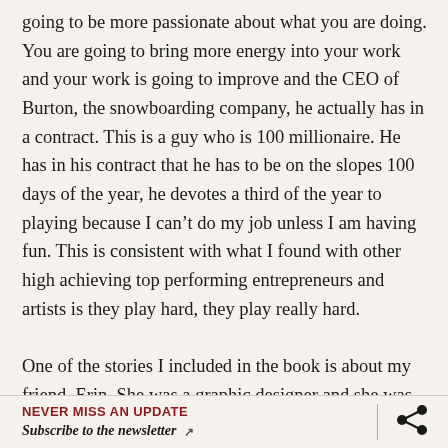going to be more passionate about what you are doing. You are going to bring more energy into your work and your work is going to improve and the CEO of Burton, the snowboarding company, he actually has in a contract. This is a guy who is 100 millionaire. He has in his contract that he has to be on the slopes 100 days of the year, he devotes a third of the year to playing because I can't do my job unless I am having fun. This is consistent with what I found with other high achieving top performing entrepreneurs and artists is they play hard, they play really hard.

One of the stories I included in the book is about my friend, Erin. She was a graphic designer and she was working on a client's website and my friend Ann and I called her up and we were like, hey, you want to hang out? She goes, no, I
NEVER MISS AN UPDATE
Subscribe to the newsletter